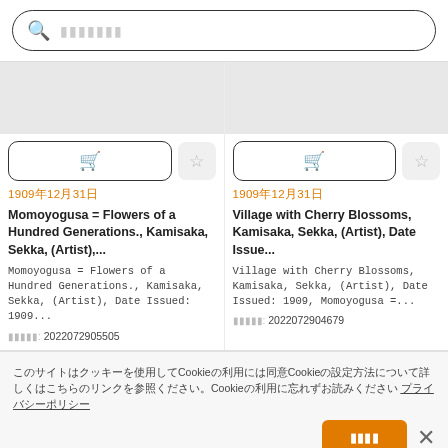[Figure (screenshot): Search bar with magnifying glass icon and placeholder text in Japanese]
1909年12月31日
Momoyogusa = Flowers of a Hundred Generations., Kamisaka, Sekka, (Artist),...
Momoyogusa = Flowers of a Hundred Generations., Kamisaka, Sekka, (Artist), Date Issued: 1909...
コレクションID: 2022072905505
1909年12月31日
Village with Cherry Blossoms, Kamisaka, Sekka, (Artist), Date Issue...
Village with Cherry Blossoms, Kamisaka, Sekka, (Artist), Date Issued: 1909, Momoyogusa =...
コレクションID: 2022072904679
このサイトはクッキーを使用してCookieの利用には同意Cookieの設定方法について詳しくはこちらのリンクを参照ください。Cookieの利用に忘れずお読みください プライバシーポリシー